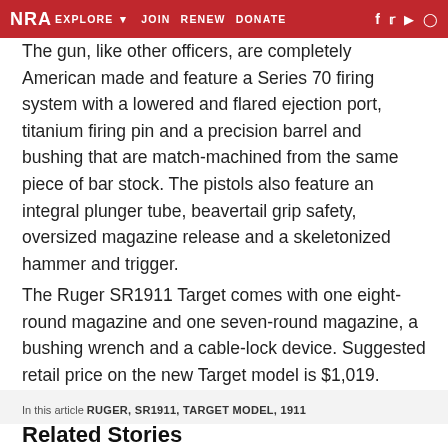NRA EXPLORE ▾  JOIN  RENEW  DONATE  f  𝕏  ▶  ◉
The gun, like other officers, are completely American made and feature a Series 70 firing system with a lowered and flared ejection port, titanium firing pin and a precision barrel and bushing that are match-machined from the same piece of bar stock. The pistols also feature an integral plunger tube, beavertail grip safety, oversized magazine release and a skeletonized hammer and trigger.
The Ruger SR1911 Target comes with one eight-round magazine and one seven-round magazine, a bushing wrench and a cable-lock device. Suggested retail price on the new Target model is $1,019.
In this article RUGER, SR1911, TARGET MODEL, 1911
Related Stories